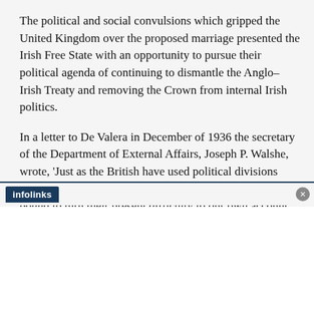The political and social convulsions which gripped the United Kingdom over the proposed marriage presented the Irish Free State with an opportunity to pursue their political agenda of continuing to dismantle the Anglo–Irish Treaty and removing the Crown from internal Irish politics.
In a letter to De Valera in December of 1936 the secretary of the Department of External Affairs, Joseph P. Walshe, wrote, 'Just as the British have used political divisions here for their political advantage we are entitled and are bound to turn their present difficulty to our own account.'